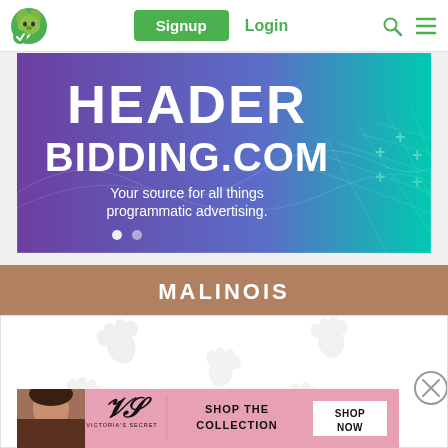Signup  Login
[Figure (screenshot): HeaderBidding.com banner advertisement with purple-to-teal gradient background, large white text reading 'HEADER BIDDING.COM', subtitle 'Your source for all things programmatic advertising.', wave graphic and plus signs decorations, two white dot pagination indicators.]
MALINOIS
[Figure (illustration): White content area with light gray paw print watermark decorations and a circular close (X) button on the right side.]
[Figure (screenshot): Victoria's Secret pink banner advertisement with model photo on left, VS script logo, text 'SHOP THE COLLECTION', and white 'SHOP NOW' button.]